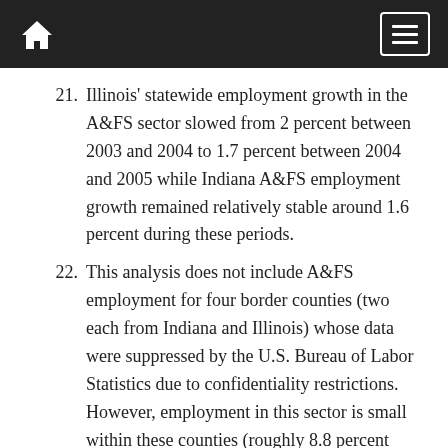Home | Menu
21. Illinois' statewide employment growth in the A&FS sector slowed from 2 percent between 2003 and 2004 to 1.7 percent between 2004 and 2005 while Indiana A&FS employment growth remained relatively stable around 1.6 percent during these periods.
22. This analysis does not include A&FS employment for four border counties (two each from Indiana and Illinois) whose data were suppressed by the U.S. Bureau of Labor Statistics due to confidentiality restrictions. However, employment in this sector is small within these counties (roughly 8.8 percent within Indiana and 1.8 percent in Illinois) so their omission should